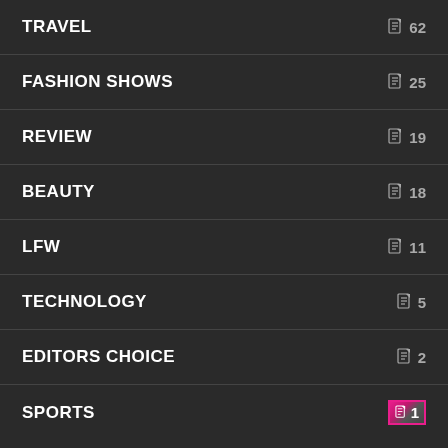TRAVEL  62
FASHION SHOWS  25
REVIEW  19
BEAUTY  18
LFW  11
TECHNOLOGY  5
EDITORS CHOICE  2
SPORTS  1